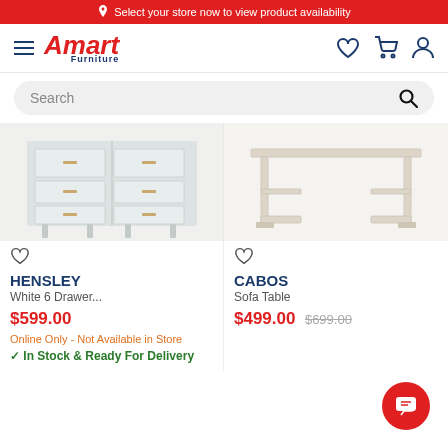Select your store now to view product availability
[Figure (logo): Amart Furniture logo with navigation icons (hamburger menu, heart/wishlist, cart, user account)]
[Figure (screenshot): Search bar with placeholder text 'Search' and magnifying glass icon]
[Figure (photo): Hensley White 6 Drawer product image - white dresser with gold handles]
HENSLEY
White 6 Drawer...
$599.00
Online Only - Not Available in Store
✓ In Stock & Ready For Delivery
[Figure (photo): Cabos Sofa Table product image - light wood sofa table with metal frame]
CABOS
Sofa Table
$499.00  $699.00